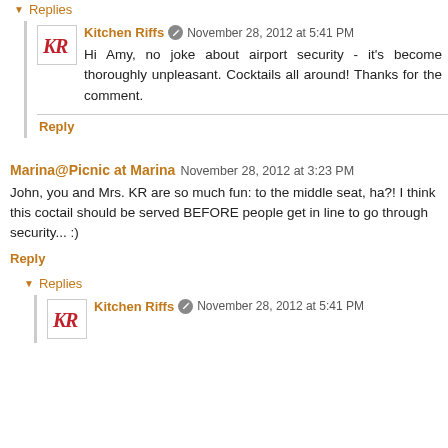▼ Replies
Kitchen Riffs  November 28, 2012 at 5:41 PM
Hi Amy, no joke about airport security - it's become thoroughly unpleasant. Cocktails all around! Thanks for the comment.
Reply
Marina@Picnic at Marina  November 28, 2012 at 3:23 PM
John, you and Mrs. KR are so much fun: to the middle seat, ha?! I think this coctail should be served BEFORE people get in line to go through security... :)
Reply
▼ Replies
Kitchen Riffs  November 28, 2012 at 5:41 PM